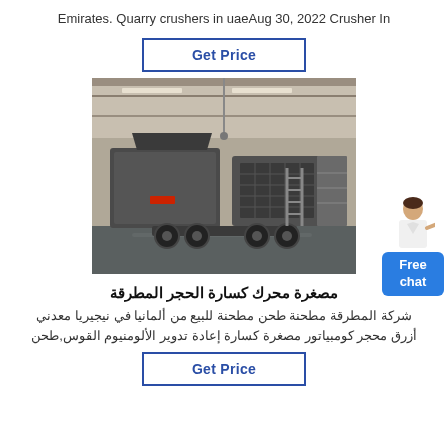Emirates. Quarry crushers in uaeAug 30, 2022 Crusher In
Get Price
[Figure (photo): Large industrial mobile crusher/screening machine inside a factory warehouse with concrete floor and steel structure roof]
مصغرة محرك كسارة الحجر المطرقة
شركة المطرقة مطحنة طحن مطحنة للبيع من ألمانيا في نيجيريا معدني أزرق محجر كومبياتور مصغرة كسارة إعادة تدوير الألومنيوم القوس,طحن
Get Price